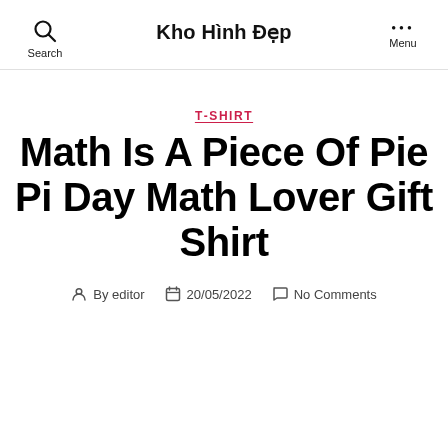Kho Hình Đẹp
T-SHIRT
Math Is A Piece Of Pie Pi Day Math Lover Gift Shirt
By editor  20/05/2022  No Comments